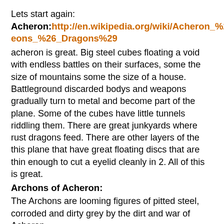Lets start again:
Acheron: http://en.wikipedia.org/wiki/Acheron_%28Dungeons_%26_Dragons%29
acheron is great. Big steel cubes floating a void with endless battles on their surfaces, some the size of mountains some the size of a house. Battleground discarded bodys and weapons gradually turn to metal and become part of the plane. Some of the cubes have little tunnels riddling them. There are great junkyards where rust dragons feed. There are other layers of the this plane that have great floating discs that are thin enough to cut a eyelid cleanly in 2. All of this is great.
Archons of Acheron:
The Archons are looming figures of pitted steel, corroded and dirty grey by the dirt and war of Acheron.
War and conflict to them are a pure fundamental things.
They believe in order, strategy, logic and above all war.
Unlike the fiends however, the Archons find concepts such a cruelty, corruption and destruction for destructions sake, utterly irrelevant. Archon can be found throughout the planes hired as mercanarys or strategic advisers. While safer to